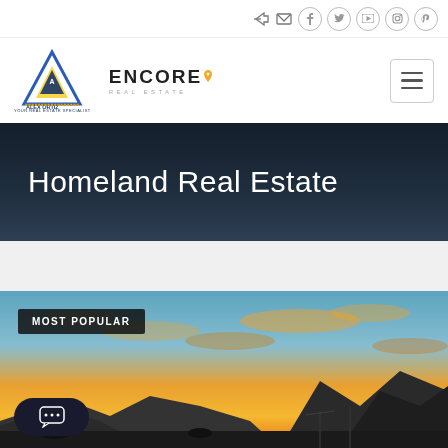Navigation bar with social icons: login, mail, Facebook, Twitter, YouTube, Instagram, Pinterest
[Figure (logo): Alex Ortiz and Encore Real Estate logos with hamburger menu button]
Homeland Real Estate
[Figure (photo): Sunset desert landscape with rocky mountains and orange sky, labeled MOST POPULAR, with a chat bubble widget in the lower left corner]